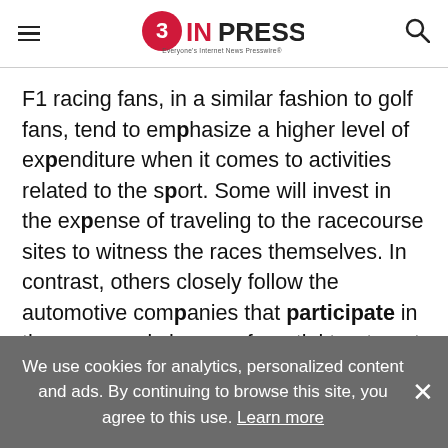EIN PRESSWIRE - Everyone's Internet News Presswire
F1 racing fans, in a similar fashion to golf fans, tend to emphasize a higher level of expenditure when it comes to activities related to the sport. Some will invest in the expense of traveling to the racecourse sites to witness the races themselves. In contrast, others closely follow the automotive companies that participate in the races and show preferential treatment for vehicles and parts from those manufacturers to emulate the racers and cars they
We use cookies for analytics, personalized content and ads. By continuing to browse this site, you agree to this use. Learn more